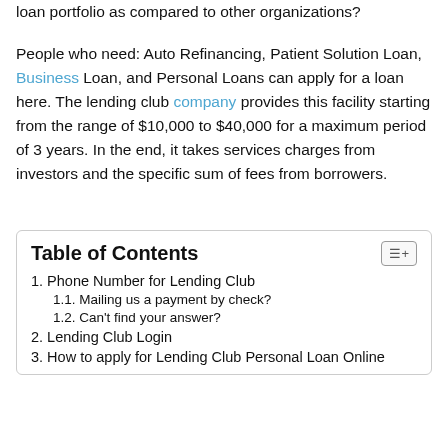loan portfolio as compared to other organizations?
People who need: Auto Refinancing, Patient Solution Loan, Business Loan, and Personal Loans can apply for a loan here. The lending club company provides this facility starting from the range of $10,000 to $40,000 for a maximum period of 3 years. In the end, it takes services charges from investors and the specific sum of fees from borrowers.
Table of Contents
1. Phone Number for Lending Club
1.1. Mailing us a payment by check?
1.2. Can't find your answer?
2. Lending Club Login
3. How to apply for Lending Club Personal Loan Online